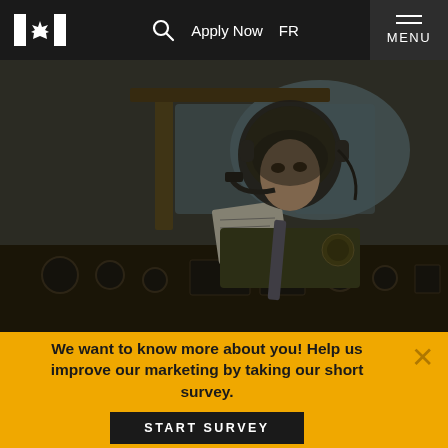Canadian Armed Forces — Apply Now  FR  MENU
[Figure (photo): A female Canadian Armed Forces pilot wearing a flight helmet and headset, seated in the cockpit of a military aircraft. She is in uniform with a squadron patch visible on her shoulder. The cockpit instrument panel and windows showing sky are visible in the background. The image has a dark, slightly warm overlay.]
We want to know more about you! Help us improve our marketing by taking our short survey.
START SURVEY